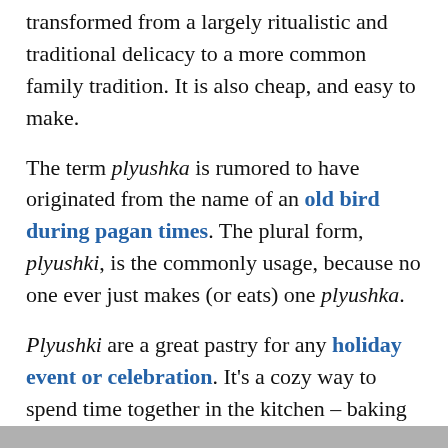transformed from a largely ritualistic and traditional delicacy to a more common family tradition. It is also cheap, and easy to make.
The term plyushka is rumored to have originated from the name of an old bird during pagan times. The plural form, plyushki, is the commonly usage, because no one ever just makes (or eats) one plyushka.
Plyushki are a great pastry for any holiday event or celebration. It's a cozy way to spend time together in the kitchen – baking with your babushka.
The doughy pastry is usually twisted into the shape of a heart. However, they can be twisted into any shape you like. Bows or birds are also popular.